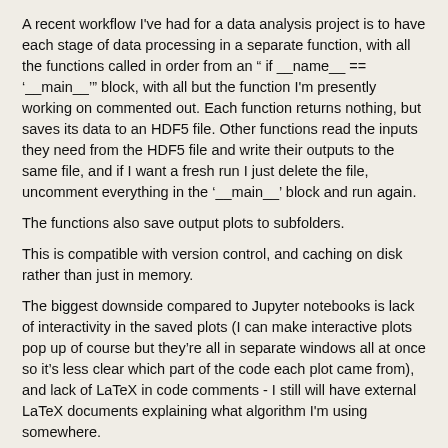A recent workflow I've had for a data analysis project is to have each stage of data processing in a separate function, with all the functions called in order from an " if __name__ == '__main__'" block, with all but the function I'm presently working on commented out. Each function returns nothing, but saves its data to an HDF5 file. Other functions read the inputs they need from the HDF5 file and write their outputs to the same file, and if I want a fresh run I just delete the file, uncomment everything in the '__main__' block and run again.
The functions also save output plots to subfolders.
This is compatible with version control, and caching on disk rather than just in memory.
The biggest downside compared to Jupyter notebooks is lack of interactivity in the saved plots (I can make interactive plots pop up of course but they're all in separate windows all at once so it's less clear which part of the code each plot came from), and lack of LaTeX in code comments - I still will have external LaTeX documents explaining what algorithm I'm using somewhere.
So for now, the downsides of notebooks with respect to version control, data caching and extra state that I have to remember in order to not hit subtle bugs in my code as I hack on it, seem to outweigh the upsides.
Maybe what I would like is an editor that renders LaTeX in comments, and which embeds arbitrary plot windows at given points in the code, but without any data persistence,